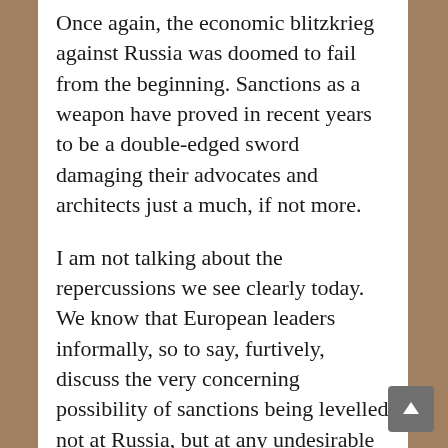Once again, the economic blitzkrieg against Russia was doomed to fail from the beginning. Sanctions as a weapon have proved in recent years to be a double-edged sword damaging their advocates and architects just a much, if not more.
I am not talking about the repercussions we see clearly today. We know that European leaders informally, so to say, furtively, discuss the very concerning possibility of sanctions being levelled not at Russia, but at any undesirable nation, and ultimately anyone including the EU and European companies.
So far this is not the case, but European politicians have already dealt their economies a serious blow all by themselves. We see social and